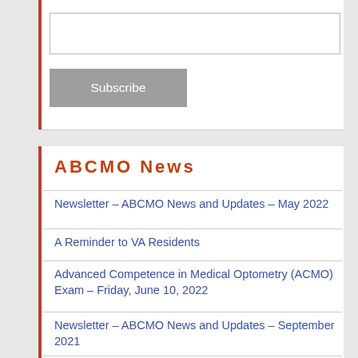[Figure (screenshot): Email subscription input box (text field)]
Subscribe
ABCMO News
Newsletter – ABCMO News and Updates – May 2022
A Reminder to VA Residents
Advanced Competence in Medical Optometry (ACMO) Exam – Friday, June 10, 2022
Newsletter – ABCMO News and Updates – September 2021